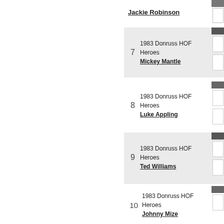Jackie Robinson — 1983 Donruss HOF Heroes
7  1983 Donruss HOF Heroes  Mickey Mantle
8  1983 Donruss HOF Heroes  Luke Appling
9  1983 Donruss HOF Heroes  Ted Williams
10  1983 Donruss HOF Heroes  Johnny Mize
11  1983 Donruss HOF Heroes  Satchel Paige